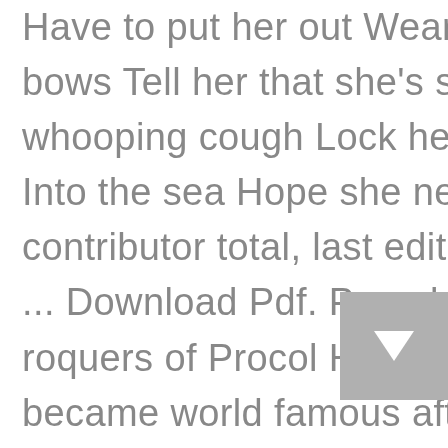Have to put her out Wear her clothes Steal her bows Tell her that she's stout Simple sister Got whooping cough Lock her in a cell Throw the key Into the sea Hope she never gets well. 1 contributor total, last edit on May 06, 2016. and i ... Download Pdf. Procol Harum The baroque roquers of Procol Harum (Richmond, London) became world famous after the delivery of a few superb symphonic pop prototypes. 3 (BWV 1068) in D major, given the more vivid title A Whiter Shade of Pale by the band.